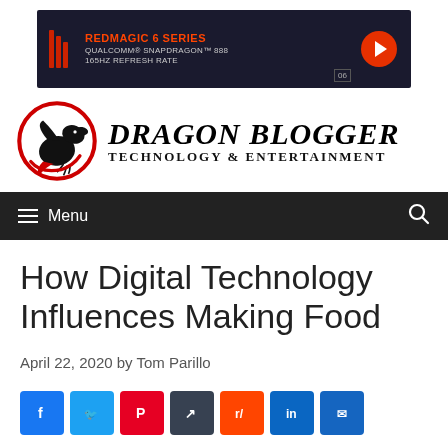[Figure (screenshot): RedMagic 6 Series advertisement banner — dark background with red dragon logo, text 'REDMAGIC 6 SERIES QUALCOMM® SNAPDRAGON™ 888 165HZ REFRESH RATE' and red play button]
[Figure (logo): Dragon Blogger Technology & Entertainment logo — red dragon in circle on left, bold italic text 'Dragon Blogger' and 'Technology & Entertainment' on right]
Menu
How Digital Technology Influences Making Food
April 22, 2020 by Tom Parillo
[Figure (infographic): Row of social media share buttons: Facebook, Twitter, Pinterest, dark share, Reddit, LinkedIn, and another social button]